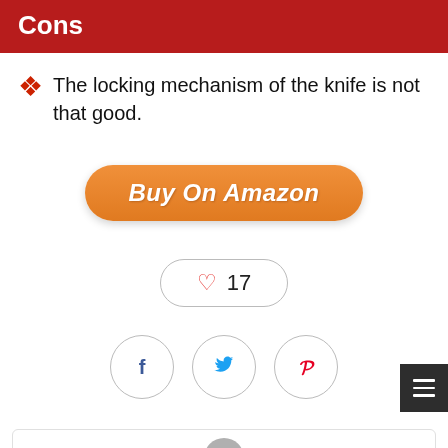Cons
The locking mechanism of the knife is not that good.
[Figure (other): Orange 'Buy On Amazon' button with rounded pill shape]
[Figure (other): Like button showing heart icon and count 17, with rounded pill border]
[Figure (other): Social share buttons: Facebook (f), Twitter (bird), Pinterest (p) — each in a circle]
[Figure (other): Profile area with gray avatar icon (head and shoulders silhouette), partially visible at bottom. Dark menu button with three horizontal lines in bottom-right corner.]